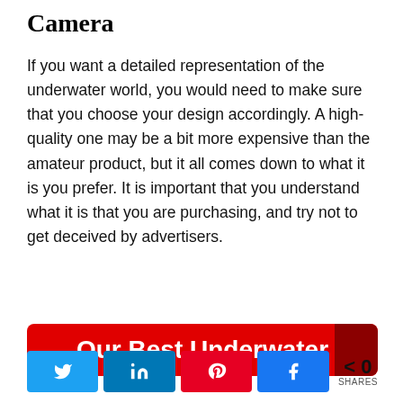Camera
If you want a detailed representation of the underwater world, you would need to make sure that you choose your design accordingly. A high-quality one may be a bit more expensive than the amateur product, but it all comes down to what it is you prefer. It is important that you understand what it is that you are purchasing, and try not to get deceived by advertisers.
Our Best Underwater